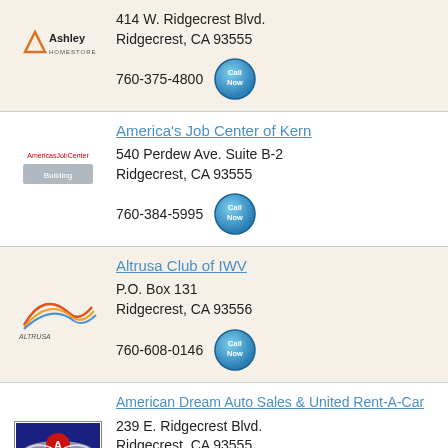[Figure (logo): Ashley HomeStore logo - orange triangle with Ashley HomeStore text]
414 W. Ridgecrest Blvd.
Ridgecrest, CA 93555
760-375-4800
[Figure (illustration): Call Now button]
America's Job Center of Kern
[Figure (logo): America's Job Center logo]
540 Perdew Ave. Suite B-2
Ridgecrest, CA 93555
760-384-5995
[Figure (illustration): Call Now button]
Altrusa Club of IWV
[Figure (logo): Altrusa International logo with curved lines]
P.O. Box 131
Ridgecrest, CA 93556
760-608-0146
[Figure (illustration): Call Now button]
American Dream Auto Sales & United Rent-A-Car
[Figure (logo): American Dream Auto Sales logo - eagle with wings]
239 E. Ridgecrest Blvd.
Ridgecrest, CA 93555